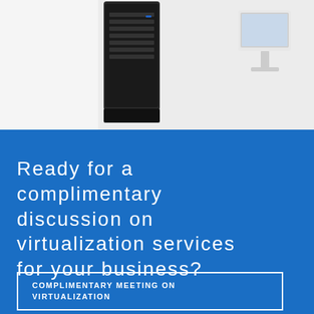[Figure (photo): Photo of computer hardware including a black server tower on the left and a white computer monitor on the right, against a white background]
Ready for a complimentary discussion on virtualization services for your business?
COMPLIMENTARY MEETING ON VIRTUALIZATION